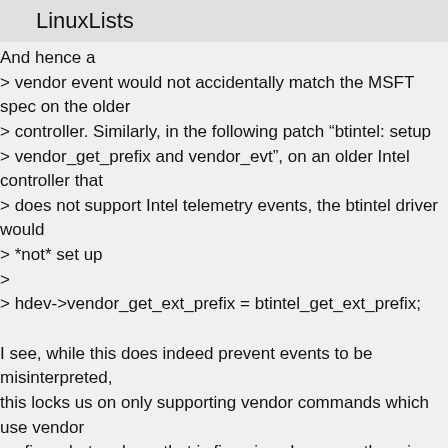LinuxLists
And hence a
> vendor event would not accidentally match the MSFT spec on the older
> controller. Similarly, in the following patch “btintel: setup
> vendor_get_prefix and vendor_evt”, on an older Intel controller that
> does not support Intel telemetry events, the btintel driver would
> *not* set up
>
> hdev->vendor_get_ext_prefix = btintel_get_ext_prefix;

I see, while this does indeed prevent events to be misinterpreted,
this locks us on only supporting vendor commands which use vendor
prefixes, but perhaps that is fine since I assume there is